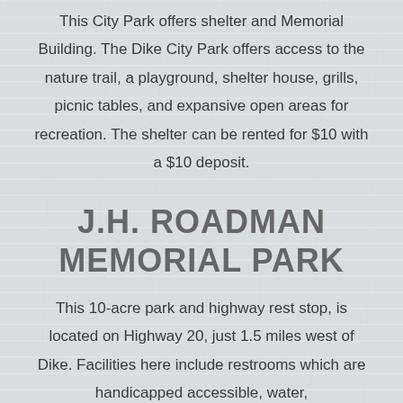This City Park offers shelter and Memorial Building. The Dike City Park offers access to the nature trail, a playground, shelter house, grills, picnic tables, and expansive open areas for recreation. The shelter can be rented for $10 with a $10 deposit.
J.H. ROADMAN MEMORIAL PARK
This 10-acre park and highway rest stop, is located on Highway 20, just 1.5 miles west of Dike. Facilities here include restrooms which are handicapped accessible, water,